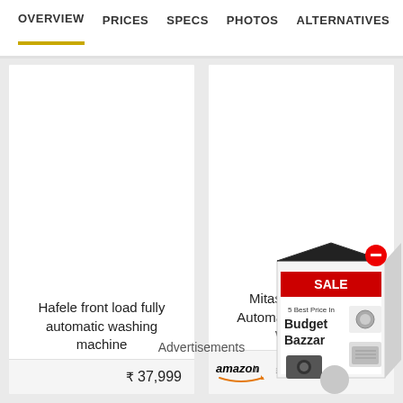OVERVIEW  PRICES  SPECS  PHOTOS  ALTERNATIVES
Hafele front load fully automatic washing machine
₹ 37,999
Mitashi 7 kg Fully Automatic Front Load Washing
amazon.in  ₹46,999
Advertisements